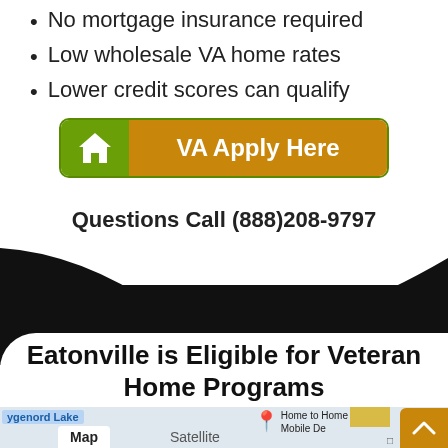No mortgage insurance required
Low wholesale VA home rates
Lower credit scores can qualify
[Figure (other): Orange and green button labeled 'VA Apply Here' with a house icon on the left green section]
Questions Call (888)208-9797
[Figure (other): Black swoosh/wave decorative divider between white sections]
Eatonville is Eligible for Veteran Home Programs
[Figure (map): Google Maps screenshot showing Map/Satellite tabs, a blue lake label reading 'ygenord Lake', a map pin icon, and text 'Home to Home Mobile De']